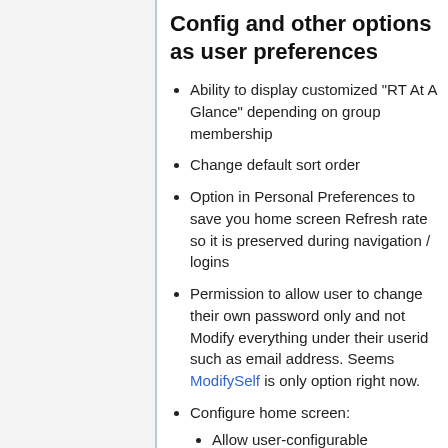Config and other options as user preferences
Ability to display customized "RT At A Glance" depending on group membership
Change default sort order
Option in Personal Preferences to save you home screen Refresh rate so it is preserved during navigation / logins
Permission to allow user to change their own password only and not Modify everything under their userid such as email address. Seems ModifySelf is only option right now.
Configure home screen:
Allow user-configurable "bookmarks" to queries
bookmarks? May be it's